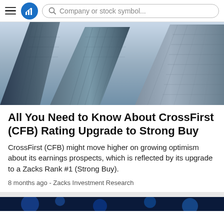Company or stock symbol...
[Figure (photo): Upward-angle photograph of tall glass skyscrapers against a pale blue sky]
All You Need to Know About CrossFirst (CFB) Rating Upgrade to Strong Buy
CrossFirst (CFB) might move higher on growing optimism about its earnings prospects, which is reflected by its upgrade to a Zacks Rank #1 (Strong Buy).
8 months ago - Zacks Investment Research